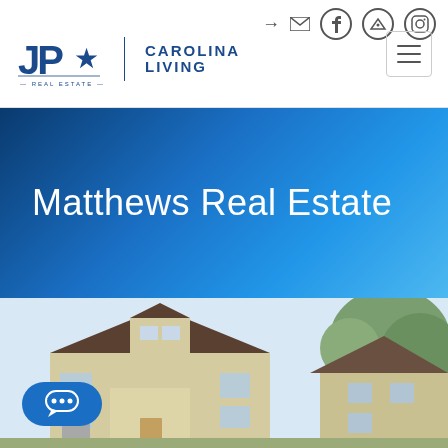[Figure (logo): JPAR Carolina Living Real Estate logo with blue star emblem and text]
Matthews Real Estate
MOST POPULAR
[Figure (photo): Photo of a two-story cream/yellow colored house with dark roof, multiple windows, and trees in background]